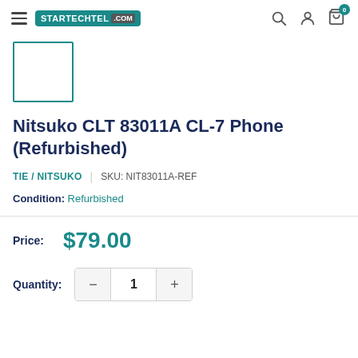STARTECHTEL.COM
[Figure (other): Product image placeholder - teal bordered empty square box]
Nitsuko CLT 83011A CL-7 Phone (Refurbished)
TIE / NITSUKO | SKU: NIT83011A-REF
Condition: Refurbished
Price: $79.00
Quantity: 1